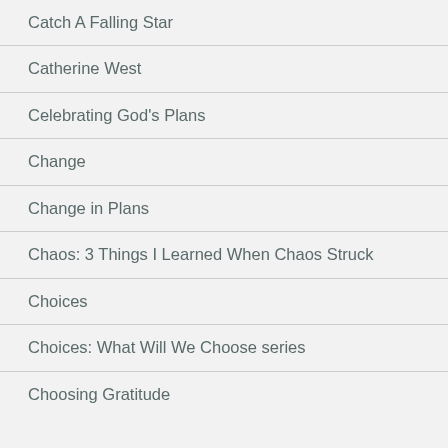Catch A Falling Star
Catherine West
Celebrating God's Plans
Change
Change in Plans
Chaos: 3 Things I Learned When Chaos Struck
Choices
Choices: What Will We Choose series
Choosing Gratitude